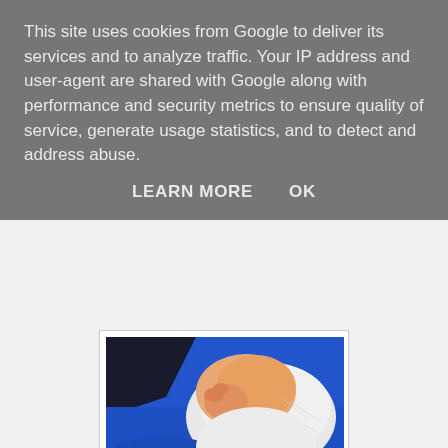This site uses cookies from Google to deliver its services and to analyze traffic. Your IP address and user-agent are shared with Google along with performance and security metrics to ensure quality of service, generate usage statistics, and to detect and address abuse.
LEARN MORE    OK
[Figure (photo): A sleeping baby dressed in a white outfit held by someone in a blue hoodie or jacket. The baby's face is partially visible, resting against the person's chest.]
Bob and Spud